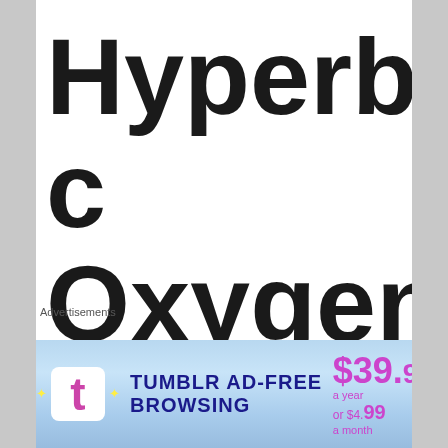Hyperbaric Oxygen Therapy
[Figure (screenshot): Tumblr Ad-Free Browsing advertisement banner showing $39.99 a year or $4.99 a month pricing]
Advertisements